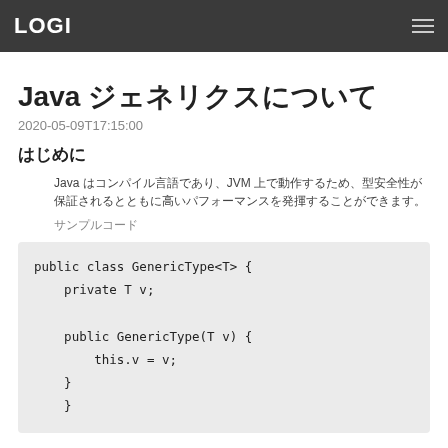LOGI
Java ジェネリクスについて
2020-05-09T17:15:00
はじめに
Java はコンパイル言語であり、JVM 上で動作するため、型安全性が保証されるとともに高いパフォーマンスを発揮することができます。
サンプルコード
public class GenericType<T> {
    private T v;

    public GenericType(T v) {
        this.v = v;
    }